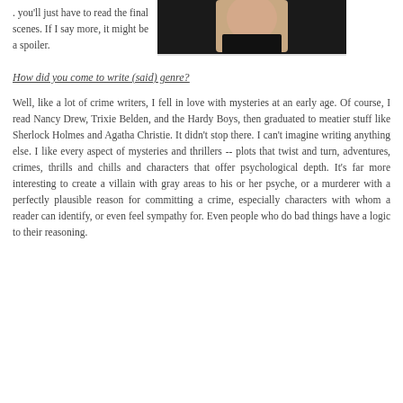. you'll just have to read the final scenes. If I say more, it might be a spoiler.
[Figure (photo): Black and white photo of a person wearing a dark top, cropped at shoulders and above, against a light background.]
How did you come to write (said) genre?
Well, like a lot of crime writers, I fell in love with mysteries at an early age. Of course, I read Nancy Drew, Trixie Belden, and the Hardy Boys, then graduated to meatier stuff like Sherlock Holmes and Agatha Christie. It didn't stop there. I can't imagine writing anything else. I like every aspect of mysteries and thrillers -- plots that twist and turn, adventures, crimes, thrills and chills and characters that offer psychological depth. It's far more interesting to create a villain with gray areas to his or her psyche, or a murderer with a perfectly plausible reason for committing a crime, especially characters with whom a reader can identify, or even feel sympathy for. Even people who do bad things have a logic to their reasoning.